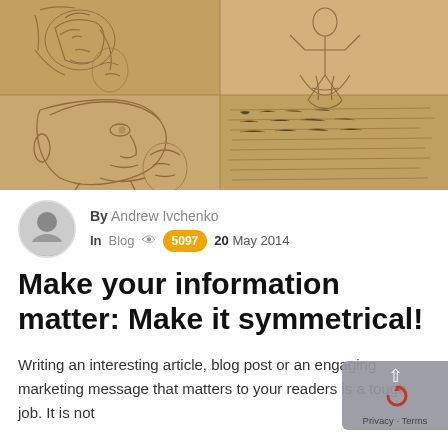[Figure (illustration): Collage of Leonardo da Vinci anatomical and figure sketches on aged parchment background — includes profile head studies, a human figure, and handwritten notes]
By Andrew Ivchenko
In Blog 5097 20 May 2014
Make your information matter: Make it symmetrical!
Writing an interesting article, blog post or an engaging marketing message that matters to your readers is a tough job. It is not